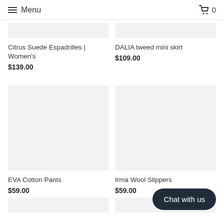Menu | Cart 0
Citrus Suede Espadrilles | Women's
$139.00
DALIA tweed mini skirt
$109.00
[Figure (photo): Product image placeholder for EVA Cotton Pants (light grey rectangle)]
[Figure (photo): Product image placeholder for Irma Wool Slippers (light grey rectangle)]
EVA Cotton Pants
$59.00
Irma Wool Slippers
$59.00
Chat with us